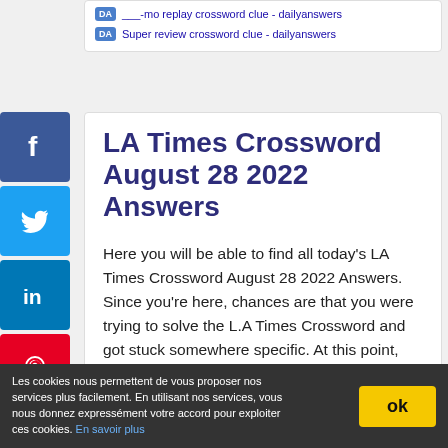___-mo replay crossword clue - dailyanswers
Super review crossword clue - dailyanswers
LA Times Crossword August 28 2022 Answers
Here you will be able to find all today's LA Times Crossword August 28 2022 Answers. Since you're here, chances are that you were trying to solve the L.A Times Crossword and got stuck somewhere specific. At this point, you need a bit of help and fortunately you've reached the right site, because we've got all the answers you might possibly need for this extraordinary crossword puzzle.The L.A Times
Les cookies nous permettent de vous proposer nos services plus facilement. En utilisant nos services, vous nous donnez expressément votre accord pour exploiter ces cookies. En savoir plus